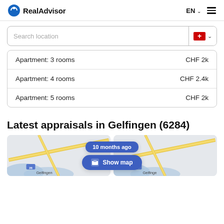RealAdvisor
Apartment: 3 rooms — CHF 2k
Apartment: 4 rooms — CHF 2.4k
Apartment: 5 rooms — CHF 2k
Latest appraisals in Gelfingen (6284)
[Figure (map): Map showing Gelfingen area with road overlay and tooltip showing '10 months ago' and 'Show map' button]
[Figure (map): Partial map showing Gelfingen area on the right side]